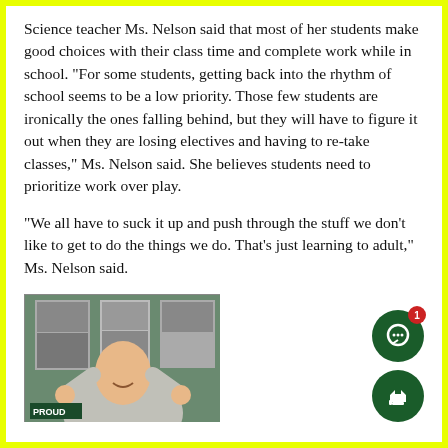Science teacher Ms. Nelson said that most of her students make good choices with their class time and complete work while in school. “For some students, getting back into the rhythm of school seems to be a low priority. Those few students are ironically the ones falling behind, but they will have to figure it out when they are losing electives and having to re-take classes,” Ms. Nelson said. She believes students need to prioritize work over play.
“We all have to suck it up and push through the stuff we don’t like to get to do the things we do. That’s just learning to adult,” Ms. Nelson said.
[Figure (photo): Photo of Ms. Nelson smiling with arms raised, standing in front of a green bulletin board with posters. A 'PROUD' sign is visible.]